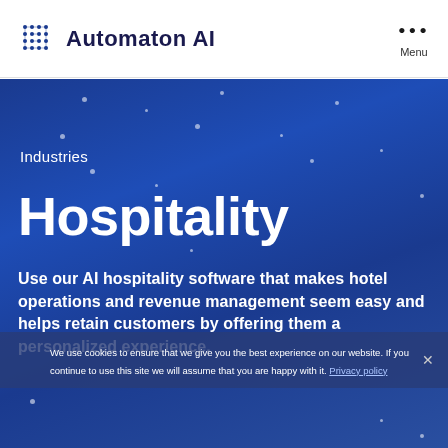Automaton AI  Menu
[Figure (screenshot): Hero banner with dark blue gradient background and decorative white dot particles]
Industries
Hospitality
Use our AI hospitality software that makes hotel operations and revenue management seem easy and helps retain customers by offering them a personalized experience.
We use cookies to ensure that we give you the best experience on our website. If you continue to use this site we will assume that you are happy with it. Privacy policy